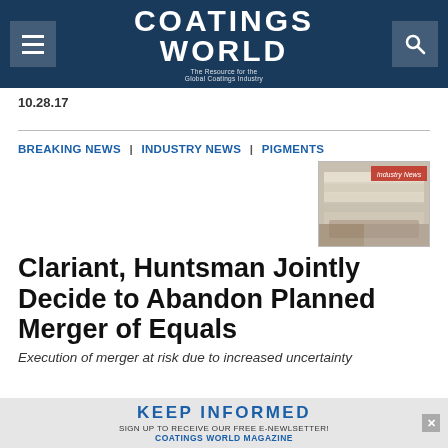Coatings World — The Resource for the Global Coatings Industry
10.28.17
BREAKING NEWS | INDUSTRY NEWS | PIGMENTS
[Figure (photo): Stack of magazines/newspapers with 'Industry News' badge overlay]
Clariant, Huntsman Jointly Decide to Abandon Planned Merger of Equals
Execution of merger at risk due to increased uncertainty
KEEP INFORMED — SIGN UP TO RECEIVE OUR FREE E-NEWLSETTER! COATINGS WORLD MAGAZINE